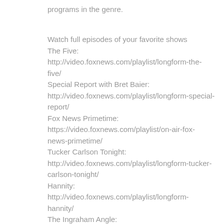programs in the genre.
Watch full episodes of your favorite shows
The Five: http://video.foxnews.com/playlist/longform-the-five/
Special Report with Bret Baier: http://video.foxnews.com/playlist/longform-special-report/
Fox News Primetime: https://video.foxnews.com/playlist/on-air-fox-news-primetime/
Tucker Carlson Tonight: http://video.foxnews.com/playlist/longform-tucker-carlson-tonight/
Hannity: http://video.foxnews.com/playlist/longform-hannity/
The Ingraham Angle: http://video.foxnews.com/playlist/longform-the-ingraham-